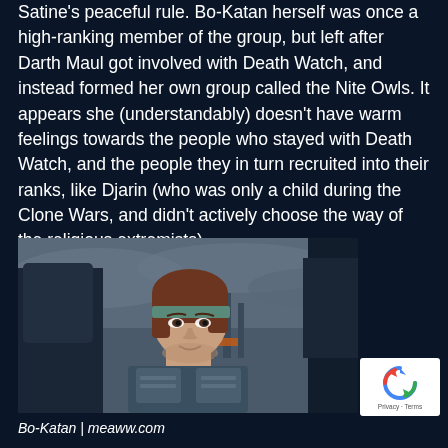Satine's peaceful rule. Bo-Katan herself was once a high-ranking member of the group, but left after Darth Maul got involved with Death Watch, and instead formed her own group called the Nite Owls. It appears she (understandably) doesn't have warm feelings towards the people who stayed with Death Watch, and the people they in turn recruited into their ranks, like Djarin (who was only a child during the Clone Wars, and didn't actively choose the way of the religious extremists).
[Figure (photo): A woman with short auburn hair and a teal headband, wearing armored clothing, looking to the side. Appears to be Bo-Katan from The Mandalorian/Star Wars. Dark, moody cinematic lighting with a cloudy sky background.]
Bo-Katan | meaww.com